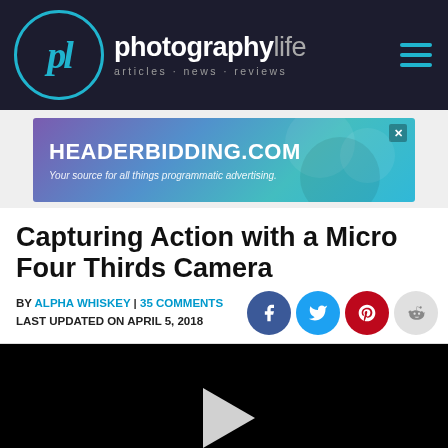photographylife articles·news·reviews
[Figure (other): HEADERBIDDING.COM advertisement banner - Your source for all things programmatic advertising.]
Capturing Action with a Micro Four Thirds Camera
BY ALPHA WHISKEY | 35 COMMENTS
LAST UPDATED ON APRIL 5, 2018
[Figure (other): Video player with black background and white play button triangle in center]